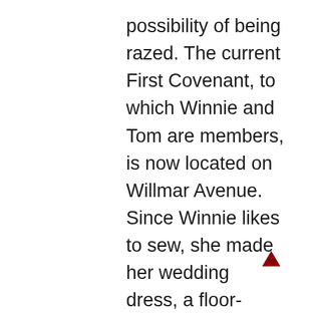possibility of being razed. The current First Covenant, to which Winnie and Tom are members, is now located on Willmar Avenue. Since Winnie likes to sew, she made her wedding dress, a floor-length gown of white silk organza with embroidered Venetian lace around the v-neckline.  It took her ten months to complete the dress and chapel-length train. Her mother designed the orchid and Bible bouquet. “I wanted orchids in my bouquet but the florist said they would have to ship it from Chicago, so I settled on plastic instead. There were no silk flowers back then. But I’m glad I went with plastic as there aren’t many brides who still have their bouquet from 50 years ago.” The wedding party included three bridesmaids, three
[Figure (other): A small dark red upward-pointing triangle arrow indicator positioned near the bottom right of the text block.]